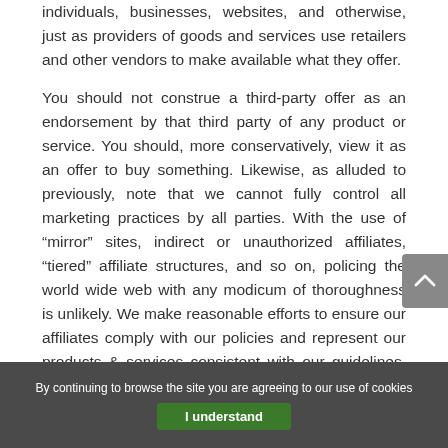individuals, businesses, websites, and otherwise, just as providers of goods and services use retailers and other vendors to make available what they offer.

You should not construe a third-party offer as an endorsement by that third party of any product or service. You should, more conservatively, view it as an offer to buy something. Likewise, as alluded to previously, note that we cannot fully control all marketing practices by all parties. With the use of “mirror” sites, indirect or unauthorized affiliates, “tiered” affiliate structures, and so on, policing the world wide web with any modicum of thoroughness is unlikely. We make reasonable efforts to ensure our affiliates comply with our policies and represent our products & services consistent with our guidelines. However, at Food Town VI we cannot always guarantee they will do so. You are always free to
By continuing to browse the site you are agreeing to our use of cookies
I understand